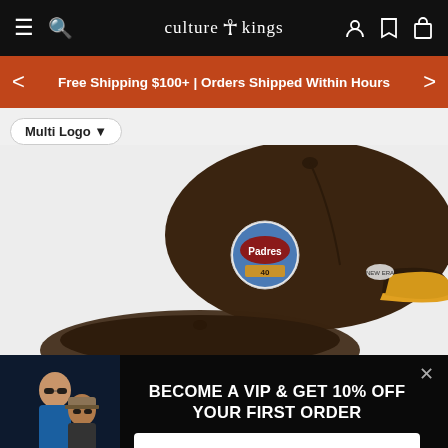culture kings
Free Shipping $100+ | Orders Shipped Within Hours
Multi Logo 🔽
[Figure (photo): San Diego Padres brown and gold fitted baseball cap with side patch logo, shown from the back right angle. A second cap is partially visible below.]
BECOME A VIP & GET 10% OFF YOUR FIRST ORDER